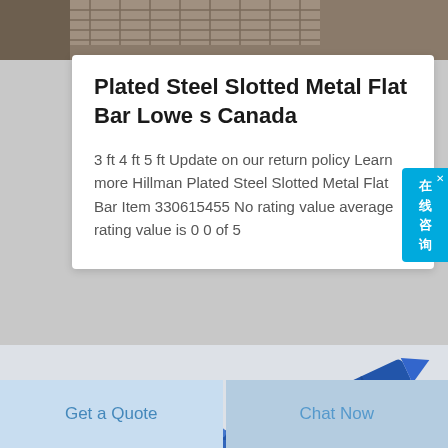[Figure (photo): Top image of metal mesh/grid material, partially visible at the top of the page]
Plated Steel Slotted Metal Flat Bar Lowe s Canada
3 ft 4 ft 5 ft Update on our return policy Learn more Hillman Plated Steel Slotted Metal Flat Bar Item 330615455 No rating value average rating value is 0 0 of 5
[Figure (illustration): Chinese online customer service button with text 在线咨询 on the right side]
[Figure (photo): Blue drill bits and metal bar/rod product photo]
Get a Quote
Chat Now